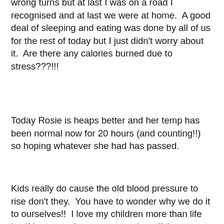wrong turns but at last I was on a road I recognised and at last we were at home.  A good deal of sleeping and eating was done by all of us for the rest of today but I just didn't worry about it.  Are there any calories burned due to stress???!!!
Today Rosie is heaps better and her temp has been normal now for 20 hours (and counting!!) so hoping whatever she had has passed.
Kids really do cause the old blood pressure to rise don't they.  You have to wonder why we do it to ourselves!!  I love my children more than life itself but everyday as a parent it terrifying, whether you are stopping them from climbing, taking temperatures, picking them up when they fall, pulling things from their noses, stopping them from running out in the road......it's utterly terrifying all of it!!!!  Would we really have it any other way though?  No of course not but I do wish sometimes we could just wrap our precious little angels up in cotton wool and protect them from everything!
Not important in the scheme of things but as far as the food